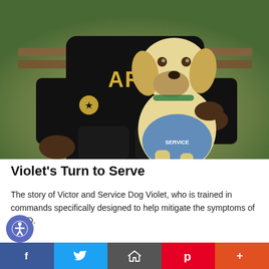[Figure (photo): A man wearing a black Army sweatshirt sits on a bench outdoors, holding a yellow Labrador Retriever service dog wearing a blue service vest. The dog faces the camera. Green foliage is visible in the background.]
Violet's Turn to Serve
The story of Victor and Service Dog Violet, who is trained in commands specifically designed to help mitigate the symptoms of PTSD.